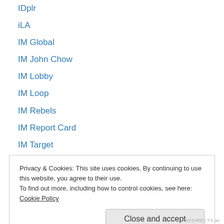IDplr
iLA
IM Global
IM John Chow
IM Lobby
IM Loop
IM Rebels
IM Report Card
IM Target
Immacc
Inbox Cash Blueprint
Inbox Dollars
Inbox Pays
Privacy & Cookies: This site uses cookies. By continuing to use this website, you agree to their use. To find out more, including how to control cookies, see here: Cookie Policy
Close and accept